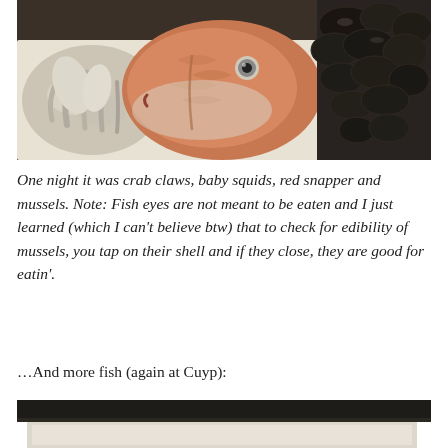[Figure (photo): Photo of raw seafood on a tray: crab claws and baby squids on the left, a red snapper fish head in the center, and black mussels on the right, laid out on white paper on a dark tray.]
One night it was crab claws, baby squids, red snapper and mussels. Note: Fish eyes are not meant to be eaten and I just learned (which I can't believe btw) that to check for edibility of mussels, you tap on their shell and if they close, they are good for eatin'.
…And more fish (again at Cuyp):
[Figure (photo): Partial photo at bottom of page showing the top edge of another fish market photo at Cuyp, with a dark counter/display top and white paper beneath.]